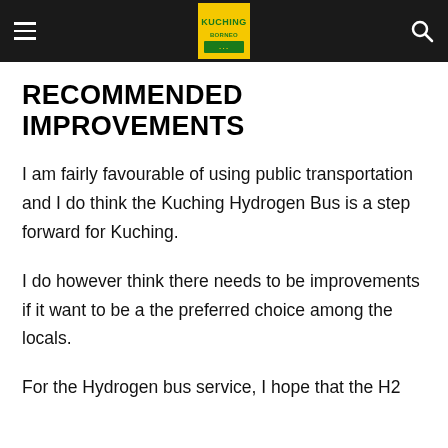Kuching Borneo (logo and navigation bar)
RECOMMENDED IMPROVEMENTS
I am fairly favourable of using public transportation and I do think the Kuching Hydrogen Bus is a step forward for Kuching.
I do however think there needs to be improvements if it want to be a the preferred choice among the locals.
For the Hydrogen bus service, I hope that the H2